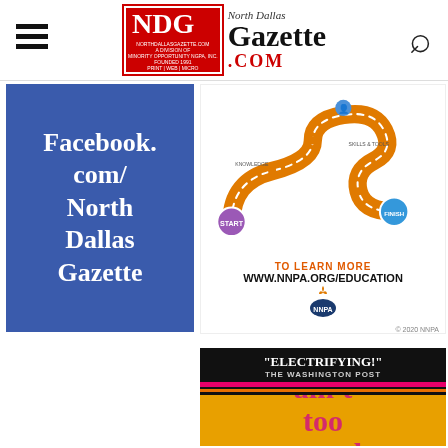North Dallas Gazette - NDG - NorthDallasGazette.com
[Figure (illustration): Facebook.com/NorthDallasGazette blue advertisement box with white text]
[Figure (infographic): NNPA education infographic with winding road diagram, 'TO LEARN MORE WWW.NNPA.ORG/EDUCATION', NNPA logo, © 2020 NNPA]
[Figure (illustration): Electrifying advertisement - 'ELECTRIFYING!' The Washington Post - ain't too proud text with pink and orange stripes on black background]